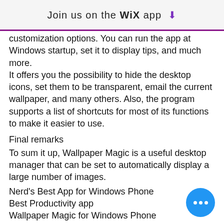Join us on the WiX app ⬇
customization options. You can run the app at Windows startup, set it to display tips, and much more.
It offers you the possibility to hide the desktop icons, set them to be transparent, email the current wallpaper, and many others. Also, the program supports a list of shortcuts for most of its functions to make it easier to use.
Final remarks
To sum it up, Wallpaper Magic is a useful desktop manager that can be set to automatically display a large number of images.
Nerd's Best App for Windows Phone
Best Productivity app
Wallpaper Magic for Windows Phone
Description:
Wallpaper Magic is a desktop wallpaper manager that helps you set your background